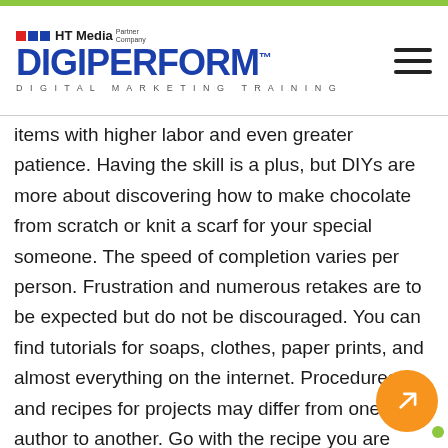HT Media Partner Company | DIGIPERFORM™ | DIGITAL MARKETING TRAINING
items with higher labor and even greater patience. Having the skill is a plus, but DIYs are more about discovering how to make chocolate from scratch or knit a scarf for your special someone. The speed of completion varies per person. Frustration and numerous retakes are to be expected but do not be discouraged. You can find tutorials for soaps, clothes, paper prints, and almost everything on the internet. Procedures and recipes for projects may differ from one author to another. Go with the recipe you are more comfortable with and then experiment. Tie-dyed clothes are easy with readily available ingredients. Bath bombs and food projects have more ingredients. You might want to